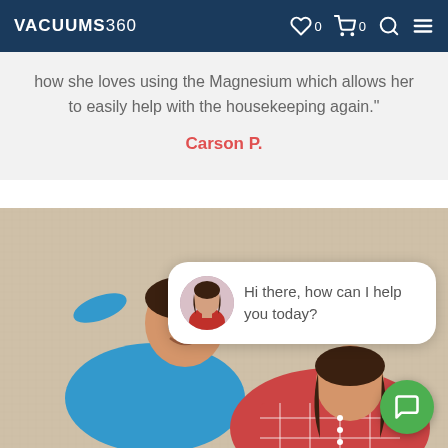VACUUMS360
how she loves using the Magnesium which allows her to easily help with the housekeeping again."
Carson P.
[Figure (photo): Two people lying on carpet, man in blue top with hands behind head smiling, woman in red plaid shirt]
Hi there, how can I help you today?